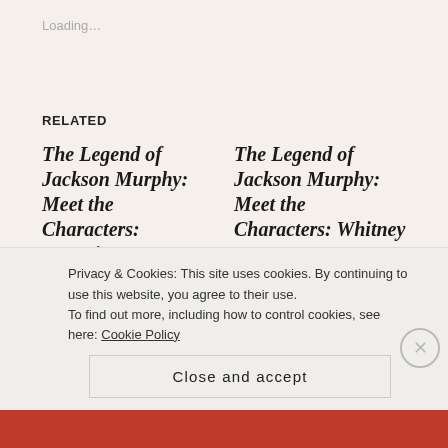Loading…
RELATED
The Legend of Jackson Murphy: Meet the Characters: Detective Newman
July 16, 2013
In "book launch"
The Legend of Jackson Murphy: Meet the Characters: Whitney
July 9, 2013
In "books"
The Legend of Jackson Murphy: Meet the…
Privacy & Cookies: This site uses cookies. By continuing to use this website, you agree to their use.
To find out more, including how to control cookies, see here: Cookie Policy
Close and accept